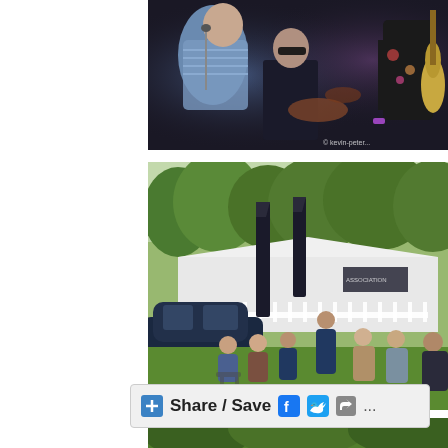[Figure (photo): Band performing on stage — singer leaning into microphone, guitarist in background playing electric guitar, drummer visible, dark stage backdrop]
[Figure (photo): Outdoor festival scene — audience seated on chairs on grass, tall banner/flag stands, white marquee tent in background, dark SUV parked, green trees]
[Figure (photo): Outdoor scene with green trees, partial view at bottom of page]
+ Share / Save ...